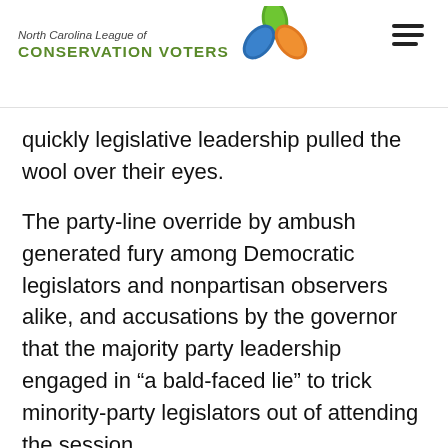North Carolina League of Conservation Voters
quickly legislative leadership pulled the wool over their eyes.
The party-line override by ambush generated fury among Democratic legislators and nonpartisan observers alike, and accusations by the governor that the majority party leadership engaged in “a bald-faced lie” to trick minority-party legislators out of attending the session.
As well as Democratic leaders, House Rules Committee chairman David Lewis had told at